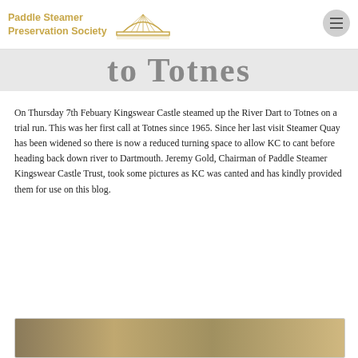Paddle Steamer Preservation Society
to Totnes
On Thursday 7th Febuary Kingswear Castle steamed up the River Dart to Totnes on a trial run. This was her first call at Totnes since 1965. Since her last visit Steamer Quay has been widened so there is now a reduced turning space to allow KC to cant before heading back down river to Dartmouth. Jeremy Gold, Chairman of Paddle Steamer Kingswear Castle Trust, took some pictures as KC was canted and has kindly provided them for use on this blog.
[Figure (photo): Partial photo of Kingswear Castle at the bottom of the page]